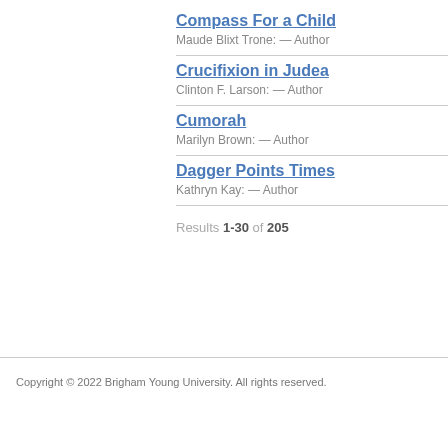Compass For a Child — Maude Blixt Trone: — Author
Crucifixion in Judea — Clinton F. Larson: — Author
Cumorah — Marilyn Brown: — Author
Dagger Points Times — Kathryn Kay: — Author
Results 1-30 of 205
Copyright © 2022 Brigham Young University. All rights reserved.